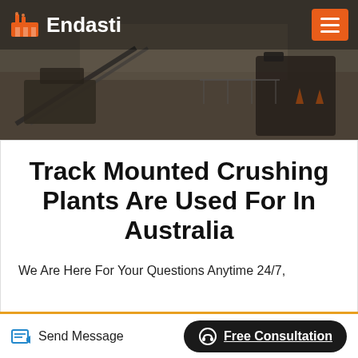[Figure (photo): Industrial crushing plant equipment with conveyor belts and machinery in an outdoor setting, dark-tinted background photo]
Endasti
Track Mounted Crushing Plants Are Used For In Australia
We Are Here For Your Questions Anytime 24/7,
Send Message
Free Consultation